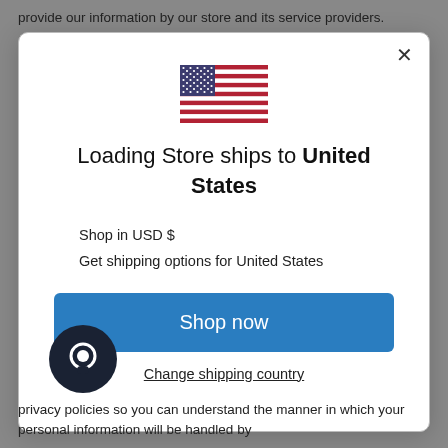provide our information by our store and its service providers.
[Figure (screenshot): Modal dialog with US flag, text 'Loading Store ships to United States', Shop in USD $, Get shipping options for United States, Shop now button, Change shipping country link]
privacy policies so you can understand the manner in which your personal information will be handled by